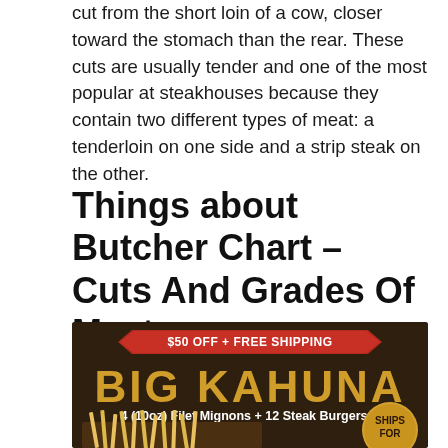cut from the short loin of a cow, closer toward the stomach than the rear. These cuts are usually tender and one of the most popular at steakhouses because they contain two different types of meat: a tenderloin on one side and a strip steak on the other.
Things about Butcher Chart – Cuts And Grades Of Meat
[Figure (infographic): Advertisement banner for 'Big Kahuna' steak package featuring '$50 OFF + FREE SHIPPING' on a red ribbon banner, large gold text 'BIG KAHUNA', subtitle '4 (10oz) Filet Mignons + 12 Steak Burgers', an image of steak and fries, and a circular badge reading 'SHIPS FOR']